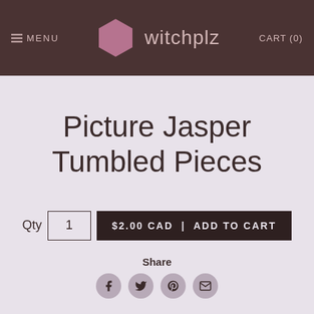MENU | witchplz | CART (0)
Picture Jasper Tumbled Pieces
Qty 1  $2.00 CAD | ADD TO CART
Share